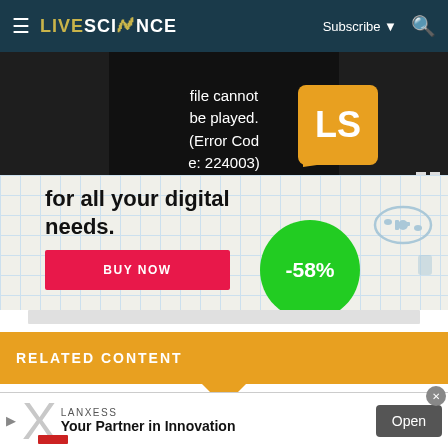LIVESCIENCE  Subscribe  [search]
[Figure (screenshot): Video player showing error message: 'file cannot be played. (Error Code: 224003)' with LiveScience logo overlay on dark background]
[Figure (screenshot): Advertisement showing text 'for all your digital needs.' with a red BUY NOW button and a green circle showing -58% discount, with gamepad icon]
RELATED CONTENT
—How do we turn oil into plastic?
[Figure (screenshot): Bottom advertisement banner for LANXESS: 'Your Partner in Innovation' with Open button]